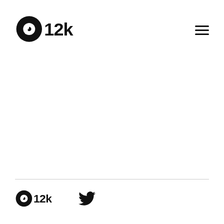[Figure (logo): i12k logo in header — vinyl record with microphone icon and text '12k']
[Figure (illustration): Hamburger menu icon (three horizontal lines) in top right]
[Figure (logo): i12k logo in footer — smaller version of the same vinyl record / microphone logo with text '12k']
[Figure (illustration): Twitter bird icon in footer]